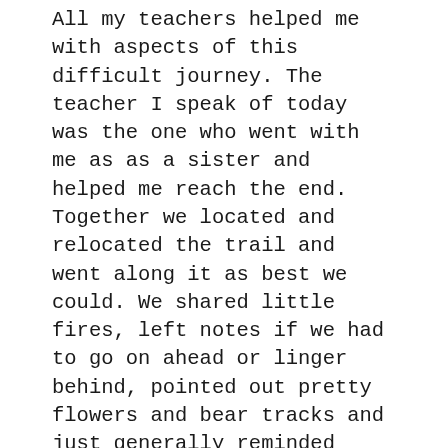All my teachers helped me with aspects of this difficult journey. The teacher I speak of today was the one who went with me as as a sister and helped me reach the end. Together we located and relocated the trail and went along it as best we could. We shared little fires, left notes if we had to go on ahead or linger behind, pointed out pretty flowers and bear tracks and just generally reminded each other that this is the way and I am not going to leave you alone on it.
And then one day I stepped out of the forest into a vast open field. Moonlight filled a thousand flowers. The air was sweet and warm; there was a brook in the distance. When I looked at my hands they were mostly light, and they were not separate from the light of countless other hands. When I called my teacher's name, she answered in a language I had